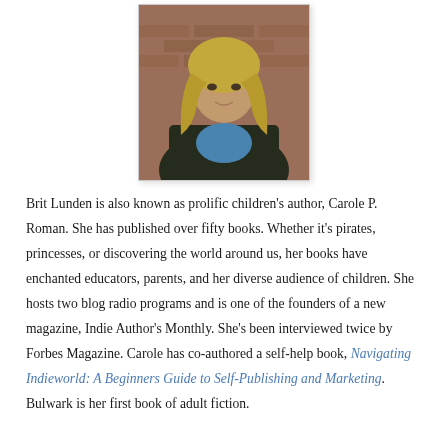[Figure (photo): Portrait photo of a woman with blonde hair wearing a dark jacket over a blue shirt, standing in front of a brick wall background. Photo has a light border/frame.]
Brit Lunden is also known as prolific children's author, Carole P. Roman. She has published over fifty books. Whether it's pirates, princesses, or discovering the world around us, her books have enchanted educators, parents, and her diverse audience of children. She hosts two blog radio programs and is one of the founders of a new magazine, Indie Author's Monthly. She's been interviewed twice by Forbes Magazine. Carole has co-authored a self-help book, Navigating Indieworld: A Beginners Guide to Self-Publishing and Marketing. Bulwark is her first book of adult fiction.